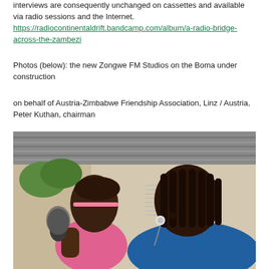interviews are consequently unchanged on cassettes and available via radio sessions and the Internet. https://radiocontinentaldrift.bandcamp.com/album/a-radio-bridge-across-the-zambezi
Photos (below): the new Zongwe FM Studios on the Boma under construction
on behalf of Austria-Zimbabwe Friendship Association, Linz / Austria, Peter Kuthan, chairman
[Figure (photo): Two young African women in profile. The one on the left wears a pink top and holds a microphone. The one on the right has braided hair and an earphone in her ear. They appear to be outdoors under a corrugated metal roof.]